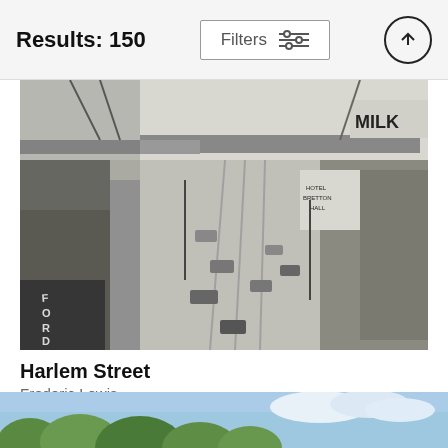Results: 150
[Figure (photo): Black and white aerial photograph of Harlem Street, showing a wide urban avenue with rail tracks, period automobiles, elevated structure in background, Ford dealership sign on left, MILK billboard on upper right, Hotel Breslin Hall sign visible]
Harlem Street
Frederic Lewis
$86
[Figure (photo): Partial view of a second photo showing green trees and blue sky at the bottom of the page]